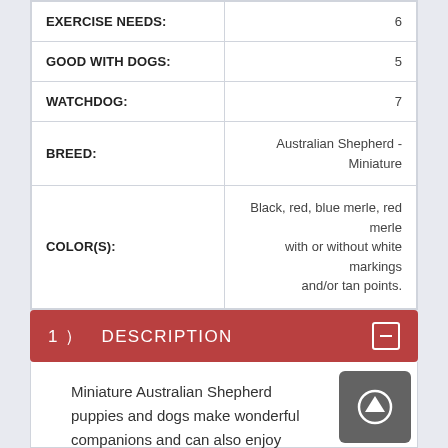| Attribute | Value |
| --- | --- |
| EXERCISE NEEDS: | 6 |
| GOOD WITH DOGS: | 5 |
| WATCHDOG: | 7 |
| BREED: | Australian Shepherd - Miniature |
| COLOR(S): | Black, red, blue merle, red merle with or without white markings and/or tan points. |
1)   DESCRIPTION
Miniature Australian Shepherd puppies and dogs make wonderful companions and can also enjoy